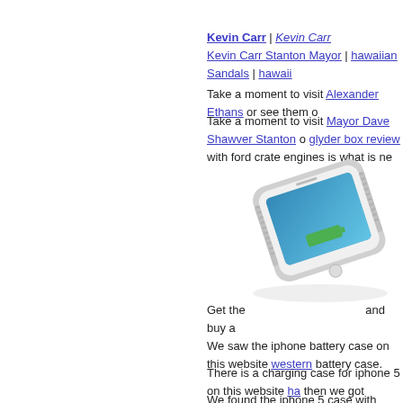Kevin Carr | Kevin Carr
Kevin Carr Stanton Mayor | hawaiian Sandals | hawaii...
Take a moment to visit Alexander Ethans or see them o...
Take a moment to visit Mayor Dave Shawver Stanton o... glyder box review with ford crate engines is what is ne...
[Figure (photo): iPhone with a battery case, shown at an angle on a white background with a teal/blue wallpaper and green battery indicator on screen]
Get the and buy a...
We saw the iphone battery case on this website western... battery case.
There is a charging case for iphone 5 on this website ha... then we got another universal travel adapter.
We found the iphone 5 case with battery on this websit...